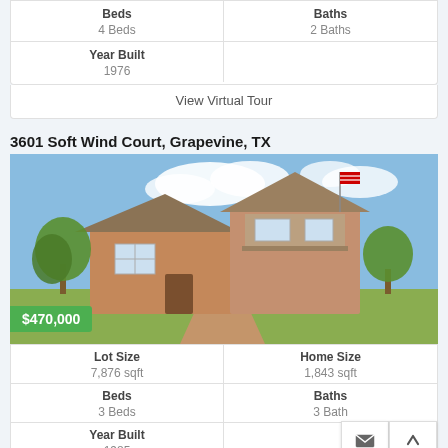| Beds | Baths |
| --- | --- |
| 4 Beds | 2 Baths |
| Year Built |
| --- |
| 1976 |
View Virtual Tour
3601 Soft Wind Court, Grapevine, TX
[Figure (photo): Two-story brick house with trees and driveway, American flag visible, blue sky with clouds]
$470,000
| Lot Size | Home Size | Beds | Baths | Year Built |
| --- | --- | --- | --- | --- |
| 7,876 sqft | 1,843 sqft | 3 Beds | 3 Bath | 1985 |